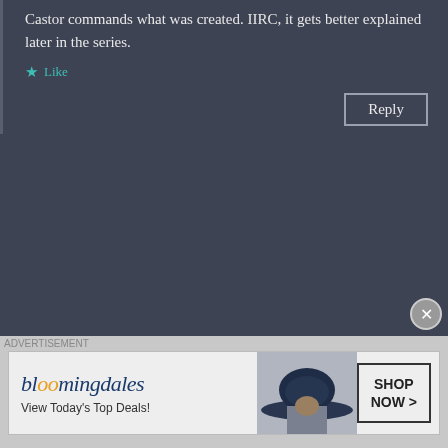Castor commands what was created. IIRC, it gets better explained later in the series.
Like
Reply
HONEYBEE says:
24th July 2019 at 9:16 pm
Maybe Castor and his sister are in soms kind of forbidden relationship?
Liked by 1 person
[Figure (illustration): Bloomingdales advertisement banner with woman in hat. Text: bloomingdales, View Today's Top Deals!, SHOP NOW >]